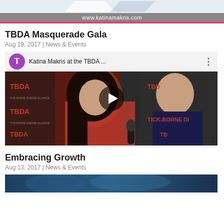www.katinamakris.com
TBDA Masquerade Gala
Aug 19, 2017 | News & Events
[Figure (screenshot): YouTube video thumbnail showing Katina Makris at the TBDA Masquerade Gala event, with a woman in red dress being interviewed in front of TBDA step-and-repeat banner]
Embracing Growth
Aug 13, 2017 | News & Events
[Figure (photo): Partial bottom image, appears to be a blue-toned photo]